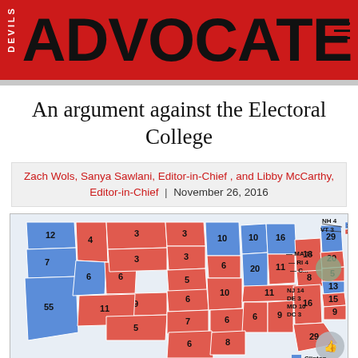[Figure (logo): Devils Advocate newspaper masthead banner with red background and large bold ADVOCATE text]
An argument against the Electoral College
Zach Wols, Sanya Sawlani, Editor-in-Chief , and Libby McCarthy, Editor-in-Chief | November 26, 2016
[Figure (map): US Electoral College map showing 2016 election results. Blue states (Clinton) and red states (Trump) with electoral vote numbers labeled. States shown include CA 55, OR 7, WA 12, NV 6, ID 4, MT 3, WY 3, UT 6, CO 9, AZ 11, NM 5, TX 38 (partially visible), ND 3, SD 3, NE 5, KS 6, OK 7, MN 10, IA 6, MO 10, WI 10, MI 16, IL 20, IN 11, OH 18, KY 8, TN 11, MS 6, AL 9, GA 16, FL 29, SC 9, NC 15, VA 13, WV 5, PA 20, NY 29, VT 3, NH 4, ME 3+1, MA 11, RI 4, CT 7, NJ 14, DE 3, MD 10, DC 3. Legend shows Clinton in blue.]